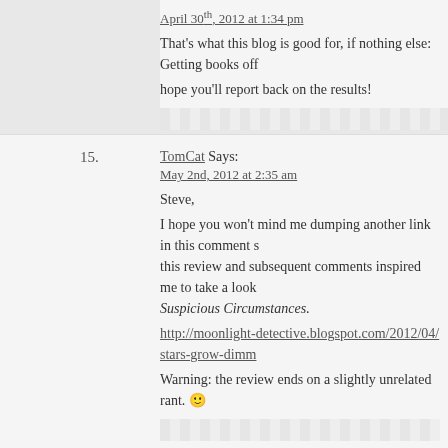April 30th, 2012 at 1:34 pm
That's what this blog is good for, if nothing else: Getting books off… I hope you'll report back on the results!
15. TomCat Says:
May 2nd, 2012 at 2:35 am
Steve,
I hope you won't mind me dumping another link in this comment s… this review and subsequent comments inspired me to take a look… Suspicious Circumstances.
http://moonlight-detective.blogspot.com/2012/04/stars-grow-dimm…
Warning: the review ends on a slightly unrelated rant. 🙂
16. Steve Says:
May 2nd, 2012 at 12:10 pm
TomCat
I enjoyed both the review and the rant!